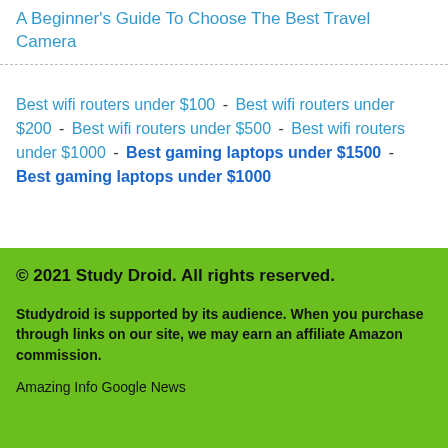A Beginner's Guide To Choose The Best Travel Camera
Best wifi routers under $100 - Best wifi routers under $200 - Best wifi routers under $500 - Best wifi routers under $1000 - Best gaming laptops under $1500 - Best gaming laptops under $1000
© 2021 Study Droid. All rights reserved.

Studydroid is supported by its audience. When you purchase through links on our site, we may earn an affiliate Amazon commission.

Amazing Info Google News